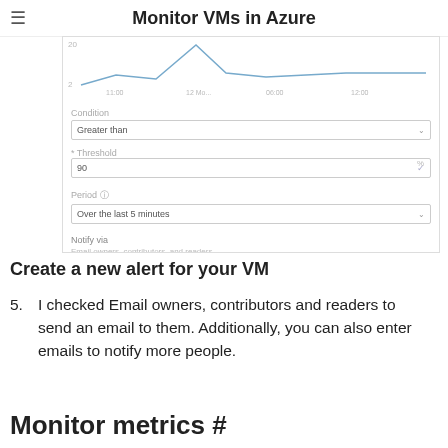Monitor VMs in Azure
[Figure (screenshot): Azure portal screenshot showing alert configuration form with fields: Condition (Greater than), Threshold (90), Period (Over the last 5 minutes), and Notify via section with Email owners, contributors, and readers checkbox checked. A line chart is visible at the top of the screenshot.]
Create a new alert for your VM
I checked Email owners, contributors and readers to send an email to them. Additionally, you can also enter emails to notify more people.
Monitor metrics #